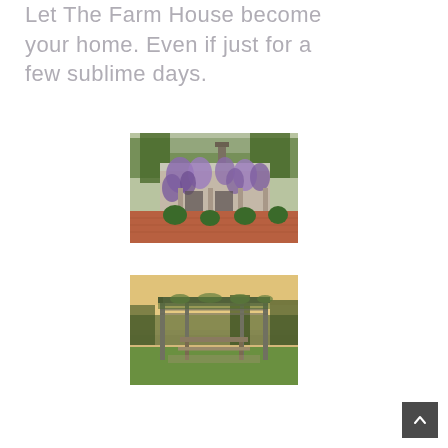Let The Farm House become your home. Even if just for a few sublime days.
[Figure (photo): Exterior of a farm house with purple wisteria climbing the facade, brick courtyard with round boxwood shrubs]
[Figure (photo): Outdoor pergola covered with climbing vines at sunset, with a rustic wooden table and bench underneath, green lawn in background]